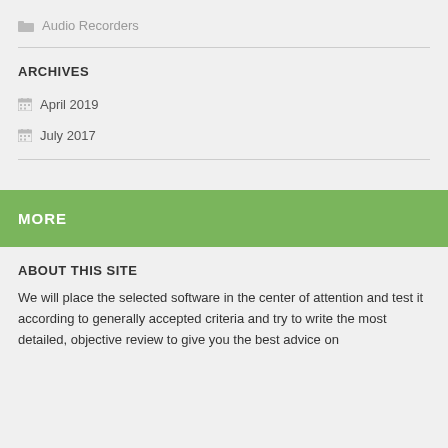Audio Recorders
ARCHIVES
April 2019
July 2017
MORE
ABOUT THIS SITE
We will place the selected software in the center of attention and test it according to generally accepted criteria and try to write the most detailed, objective review to give you the best advice on